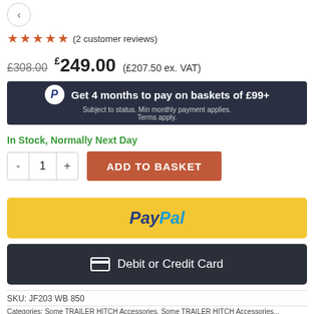[Figure (other): Navigation back button (circular arrow left)]
★★★★★ (2 customer reviews)
£308.00  £249.00 (£207.50 ex. VAT)
[Figure (infographic): PayPal banner: Get 4 months to pay on baskets of £99+. Subject to status. Min monthly payment applies. Terms apply.]
In Stock, Normally Next Day
- 1 +  ADD TO BASKET
[Figure (logo): PayPal payment button (yellow background)]
[Figure (other): Debit or Credit Card payment button (dark background)]
SKU: JF203 WB 850
Categories: Some TRAILER HITCH Accessories, Some TRAILER HITCH Accessories...